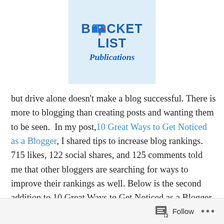[Figure (logo): Bucket List Publications logo — blue text reading BUCKET LIST Publications on a light blue background with a bucket icon]
but drive alone doesn't make a blog successful. There is more to blogging than creating posts and wanting them to be seen.  In my post, 10 Great Ways to Get Noticed as a Blogger, I shared tips to increase blog rankings. 715 likes, 122 social shares, and 125 comments told me that other bloggers are searching for ways to improve their rankings as well. Below is the second addition to 10 Great Ways to Get Noticed as a Blogger, but this time is has a general focus of Social Media and Your Blog. We can all achieve success, but it's nice to have a few tips along the